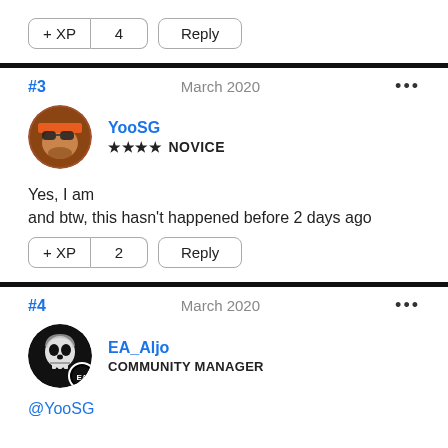+ XP  4   Reply
#3   March 2020   ...
[Figure (photo): User avatar for YooSG: a person with orange headband and sunglasses]
YooSG
★★★★ NOVICE
Yes, I am
and btw, this hasn't happened before 2 days ago
+ XP  2   Reply
#4   March 2020   ...
[Figure (photo): User avatar for EA_Aljo: skull icon with EA badge]
EA_Aljo
COMMUNITY MANAGER
@YooSG